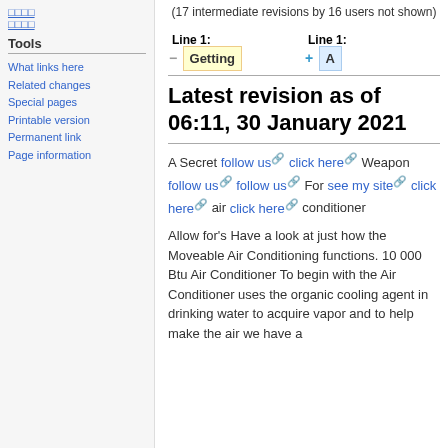□□□□
□□□□
Tools
What links here
Related changes
Special pages
Printable version
Permanent link
Page information
(17 intermediate revisions by 16 users not shown)
| Line 1: | Line 1: |
| --- | --- |
| − Getting | + A |
Latest revision as of 06:11, 30 January 2021
A Secret follow us click here Weapon follow us follow us For see my site click here air click here conditioner
Allow for's Have a look at just how the Moveable Air Conditioning functions. 10 000 Btu Air Conditioner To begin with the Air Conditioner uses the organic cooling agent in drinking water to acquire vapor and to help make the air we have a